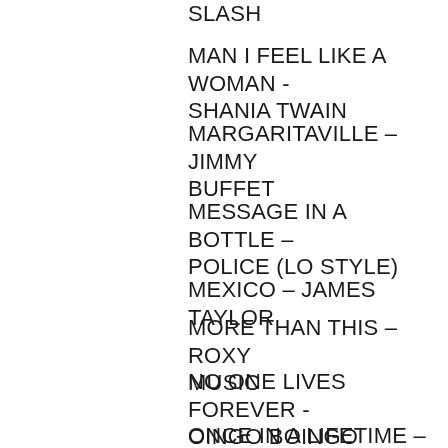SLASH
MAN I FEEL LIKE A WOMAN - SHANIA TWAIN
MARGARITAVILLE – JIMMY BUFFET
MESSAGE IN A BOTTLE – POLICE (LO STYLE)
MEXICO – JAMES TAYLOR
MORE THAN THIS – ROXY MUSIC
NO ONE LIVES FOREVER - OINGO BOINGO
ONCE IN A LIFETIME – TALKING HEADS (LO STYLE)